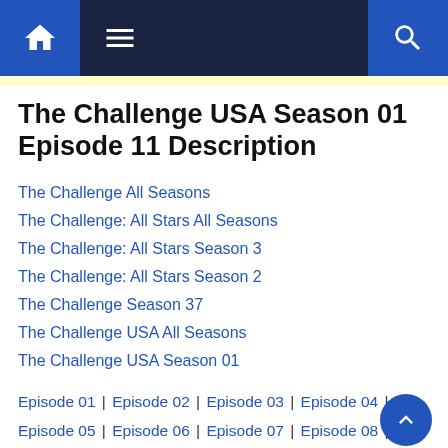Navigation bar with home icon, menu icon, and search icon
The Challenge USA Season 01 Episode 11 Description
The Challenge All Seasons
The Challenge: All Stars All Seasons
The Challenge: All Stars Season 3
The Challenge: All Stars Season 2
The Challenge Season 37
The Challenge USA All Seasons
The Challenge USA Season 01
Episode 01 | Episode 02 | Episode 03 | Episode 04 | Episode 05 | Episode 06 | Episode 07 | Episode 08 | Episode 09 | Episode 10 | Episode 11 | Episode 12 | Episode 13 | Episode 14 | Episode 15 | Episode 16 | Episode 17 | Episode 18 | Episode 19 | Episode 20